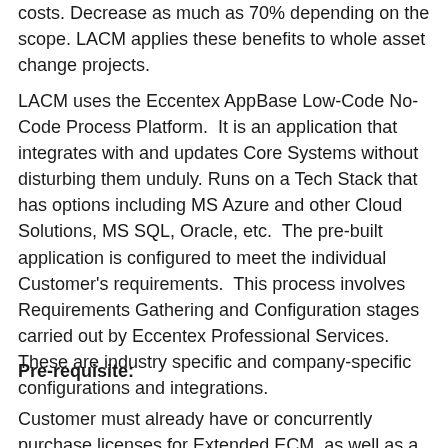costs. Decrease as much as 70% depending on the scope. LACM applies these benefits to whole asset change projects.
LACM uses the Eccentex AppBase Low-Code No-Code Process Platform.  It is an application that integrates with and updates Core Systems without disturbing them unduly. Runs on a Tech Stack that has options including MS Azure and other Cloud Solutions, MS SQL, Oracle, etc.  The pre-built application is configured to meet the individual Customer's requirements.  This process involves Requirements Gathering and Configuration stages carried out by Eccentex Professional Services.  These are industry specific and company-specific configurations and integrations.
Pre-requisite:
Customer must already have or concurrently purchase licenses for Extended ECM, as well as a document...